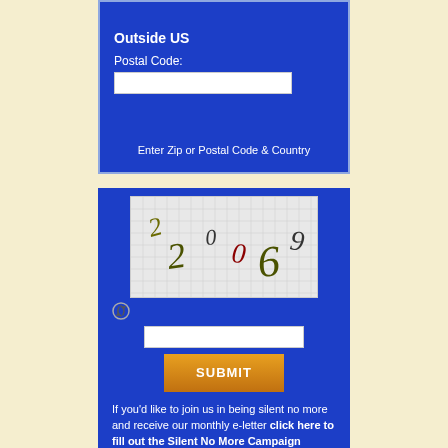Outside US
Postal Code:
[Figure (screenshot): Empty text input field for postal code]
Enter Zip or Postal Code & Country
[Figure (other): CAPTCHA image showing handwritten numbers: 2, 0, 0, 6, 9 on a grid background]
[Figure (screenshot): Refresh/reload CAPTCHA icon]
[Figure (screenshot): Empty text input field for CAPTCHA entry]
[Figure (screenshot): Orange SUBMIT button]
If you'd like to join us in being silent no more and receive our monthly e-letter click here to fill out the Silent No More Campaign Registration Form